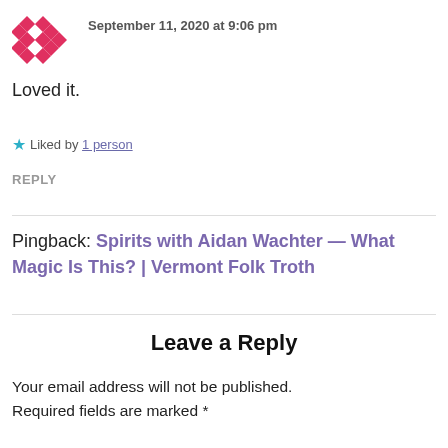[Figure (logo): Red/pink diamond checkered pattern avatar icon]
September 11, 2020 at 9:06 pm
Loved it.
★ Liked by 1 person
REPLY
Pingback: Spirits with Aidan Wachter — What Magic Is This? | Vermont Folk Troth
Leave a Reply
Your email address will not be published. Required fields are marked *